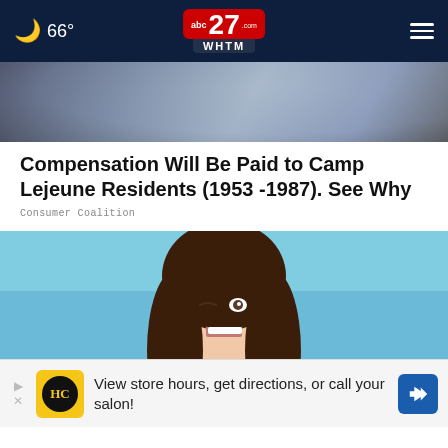66° abc27.com WHTM
[Figure (photo): Blurry medical/lab background image showing blue-toned figures]
Compensation Will Be Paid to Camp Lejeune Residents (1953 -1987). See Why
Consumer Coalition
[Figure (photo): Young woman winking and smiling, holding a dark credit card, against a light blue background]
View store hours, get directions, or call your salon!